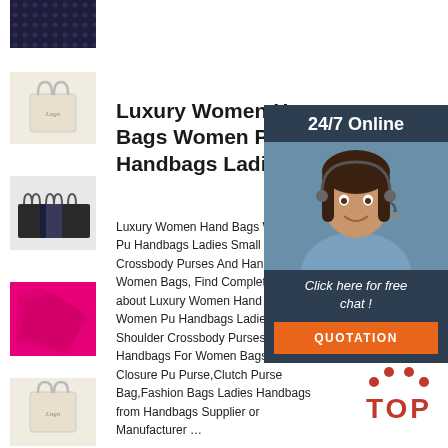[Figure (photo): Thumbnail of dark polka-dot fabric/material]
[Figure (photo): Thumbnail of cream/natural canvas tote bag with logo]
[Figure (photo): Thumbnail of small black canvas tote bags]
[Figure (photo): Thumbnail of pink fabric or material]
[Figure (photo): Thumbnail of cream/natural canvas tote bag with logo at bottom]
Luxury Women Ha Bags Women Pu Handbags Ladies
Luxury Women Hand Bags W Pu Handbags Ladies Small S Crossbody Purses And Hand Women Bags, Find Complete about Luxury Women Hand B Women Pu Handbags Ladies Shoulder Crossbody Purses A Handbags For Women Bags,Snap Closure Pu Purse,Clutch Purse Bag,Fashion Bags Ladies Handbags from Handbags Supplier or Manufacturer …
[Figure (photo): 24/7 online customer service panel with agent photo, 'Click here for free chat!' text, and QUOTATION button]
[Figure (photo): TOP badge with red dot decorations]